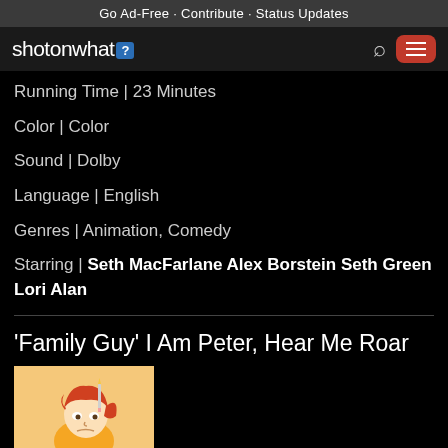Go Ad-Free - Contribute - Status Updates
shotonwhat?
Running Time | 23 Minutes
Color | Color
Sound | Dolby
Language | English
Genres | Animation, Comedy
Starring | Seth MacFarlane Alex Borstein Seth Green Lori Alan
'Family Guy' I Am Peter, Hear Me Roar
[Figure (illustration): Cartoon thumbnail from Family Guy episode showing an animated character (Meg Griffin) with red hair, holding a pencil or pen, with a peach/orange background]